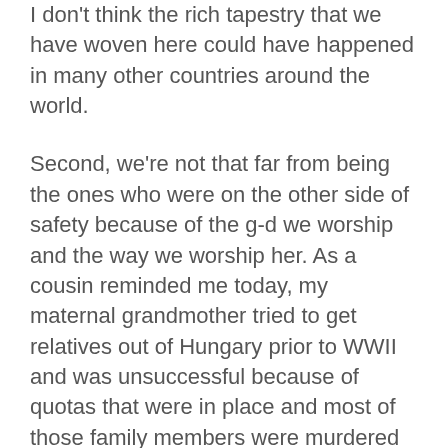I don't think the rich tapestry that we have woven here could have happened in many other countries around the world.
Second, we're not that far from being the ones who were on the other side of safety because of the g-d we worship and the way we worship her. As a cousin reminded me today, my maternal grandmother tried to get relatives out of Hungary prior to WWII and was unsuccessful because of quotas that were in place and most of those family members were murdered in concentration camps (given geography, likely Auschwitz). There are many small ways in which I'm constantly reminded that I'm a member of a minority in this